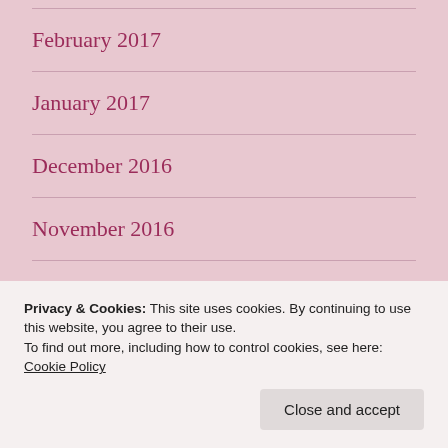February 2017
January 2017
December 2016
November 2016
September 2016
Privacy & Cookies: This site uses cookies. By continuing to use this website, you agree to their use.
To find out more, including how to control cookies, see here: Cookie Policy
June 2016